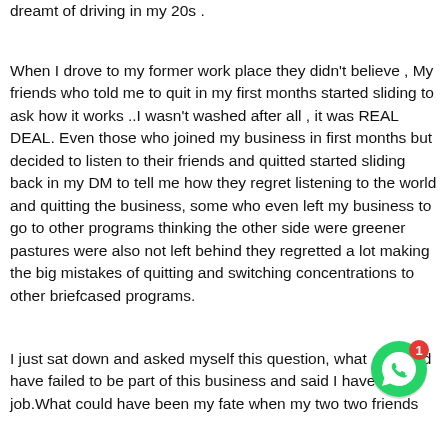dreamt of driving in my 20s .
When I drove to my former work place they didn't believe , My friends who told me to quit in my first months started sliding to ask how it works ..I wasn't washed after all , it was REAL DEAL. Even those who joined my business in first months but decided to listen to their friends and quitted started sliding back in my DM to tell me how they regret listening to the world and quitting the business, some who even left my business to go to other programs thinking the other side were greener pastures were also not left behind they regretted a lot making the big mistakes of quitting and switching concentrations to other briefcased programs.
I just sat down and asked myself this question, what could have failed to be part of this business and said I have a job.What could have been my fate when my two two friends
[Figure (other): WhatsApp floating action button with green circle icon and red notification badge showing '1']